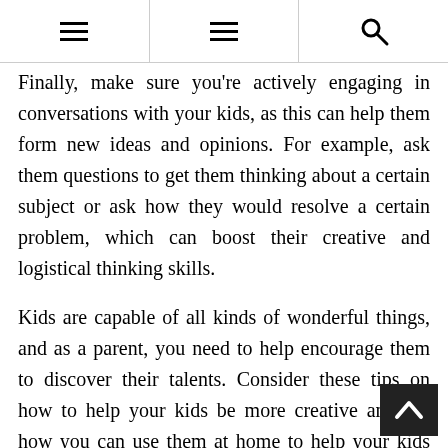Navigation header with two hamburger menu icons and a search icon
Finally, make sure you're actively engaging in conversations with your kids, as this can help them form new ideas and opinions. For example, ask them questions to get them thinking about a certain subject or ask how they would resolve a certain problem, which can boost their creative and logistical thinking skills.
Kids are capable of all kinds of wonderful things, and as a parent, you need to help encourage them to discover their talents. Consider these tips on how to help your kids be more creative and see how you can use them at home to help your kids thrive.